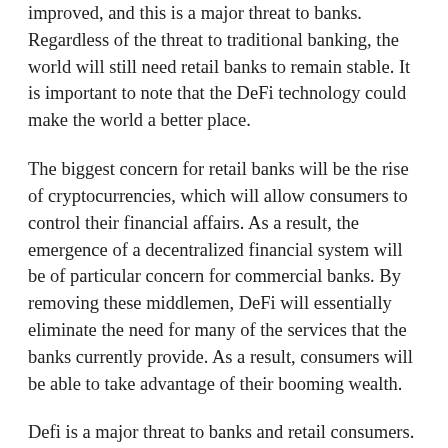improved, and this is a major threat to banks. Regardless of the threat to traditional banking, the world will still need retail banks to remain stable. It is important to note that the DeFi technology could make the world a better place.
The biggest concern for retail banks will be the rise of cryptocurrencies, which will allow consumers to control their financial affairs. As a result, the emergence of a decentralized financial system will be of particular concern for commercial banks. By removing these middlemen, DeFi will essentially eliminate the need for many of the services that the banks currently provide. As a result, consumers will be able to take advantage of their booming wealth.
Defi is a major threat to banks and retail consumers. It will affect how consumers save and spend their money. As a result, the DeFi will have a profound impact on both